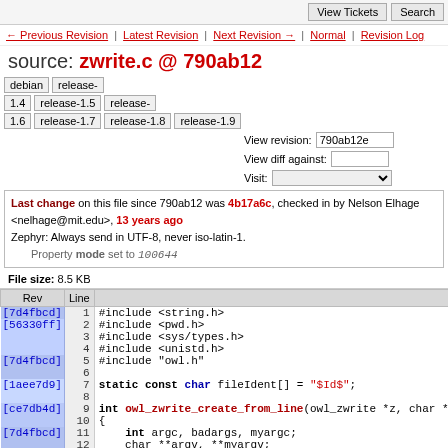View Tickets | Search
← Previous Revision | Latest Revision | Next Revision → | Normal | Revision Log
source: zwrite.c @ 790ab12
debian | release- | View revision: 790ab12e | View diff against: | 1.4 | release-1.5 | release-1.6 | release-1.7 | release-1.8 | release-1.9 | Visit:
Last change on this file since 790ab12 was 4b17a6c, checked in by Nelson Elhage <nelhage@mit.edu>, 13 years ago
Zephyr: Always send in UTF-8, never iso-latin-1.
    Property mode set to 100644
File size: 8.5 KB
| Rev | Line |  |
| --- | --- | --- |
| [7d4fbcd] | 1 | #include <string.h> |
| [56330ff] | 2 | #include <pwd.h> |
|  | 3 | #include <sys/types.h> |
|  | 4 | #include <unistd.h> |
| [7d4fbcd] | 5 | #include "owl.h" |
|  | 6 |  |
| [1aee7d9] | 7 | static const char fileIdent[] = "$Id$"; |
|  | 8 |  |
| [ce7db4d] | 9 | int owl_zwrite_create_from_line(owl_zwrite *z, char *line) |
|  | 10 | { |
| [7d4fbcd] | 11 |     int argc, badargs, myargc; |
|  | 12 |     char **argv, **myargv; |
|  | 13 |  |
|  | 14 |     badargs=0; |
|  | 15 |  |